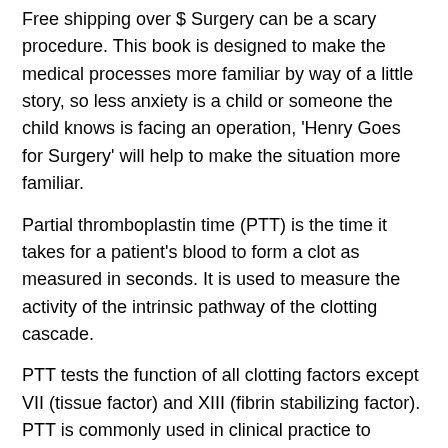Free shipping over $ Surgery can be a scary procedure. This book is designed to make the medical processes more familiar by way of a little story, so less anxiety is a child or someone the child knows is facing an operation, 'Henry Goes for Surgery' will help to make the situation more familiar.
Partial thromboplastin time (PTT) is the time it takes for a patient's blood to form a clot as measured in seconds. It is used to measure the activity of the intrinsic pathway of the clotting cascade.
PTT tests the function of all clotting factors except VII (tissue factor) and XIII (fibrin stabilizing factor). PTT is commonly used in clinical practice to monitor patient response to Cited by: 2.
Breast cancer is the most common cancer of women in the United States. As of1 in 8 women in the U.S. will have had a diagnosis of invasive breast cancer in their lifetime.
The management of breast cancer is in constant evolution. Fortunately, survival rates continue to improve, likely due to improved individualized treatment as well as earlier detection.